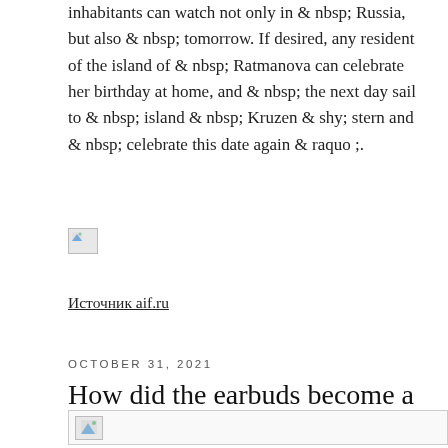inhabitants can watch not only in & nbsp; Russia, but also & nbsp; tomorrow. If desired, any resident of the island of & nbsp; Ratmanova can celebrate her birthday at home, and & nbsp; the next day sail to & nbsp; island & nbsp; Kruzen & shy; stern and & nbsp; celebrate this date again & raquo ;.
[Figure (other): Broken/missing image placeholder icon (small, top-left corner style)]
Источник aif.ru
OCTOBER 31, 2021
How did the earbuds become a symbol of Russia?
[Figure (other): Broken/missing image placeholder icon at bottom of page, wide format]